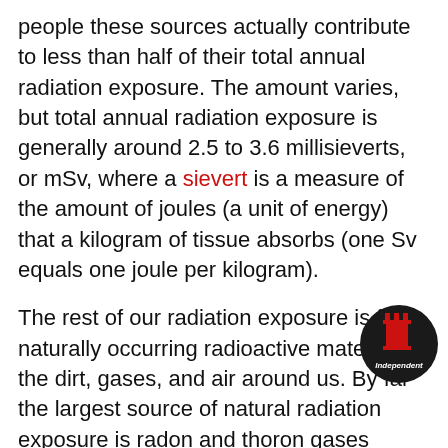people these sources actually contribute to less than half of their total annual radiation exposure. The amount varies, but total annual radiation exposure is generally around 2.5 to 3.6 millisieverts, or mSv, where a sievert is a measure of the amount of joules (a unit of energy) that a kilogram of tissue absorbs (one Sv equals one joule per kilogram).
The rest of our radiation exposure is from naturally occurring radioactive materials in the dirt, gases, and air around us. By far the largest source of natural radiation exposure is radon and thoron gases (making up about 1.2 to 1.3 mSv annually). Dirt and rocks contain radioactive potassium, thorium, and uranium, the last of which can decay into radioactive radon gas. The danger is that people cannot see, smell, or taste radon, and it builds up in underground dwellings, such as caves and basements where people breathe it in. It may be a factor in 5 to 15 percent of lung cancer cases. We're also always exposed to cosmic
[Figure (logo): Independent magazine circular logo — dark circle with red chess piece (rook) silhouette and white text reading 'Independent']